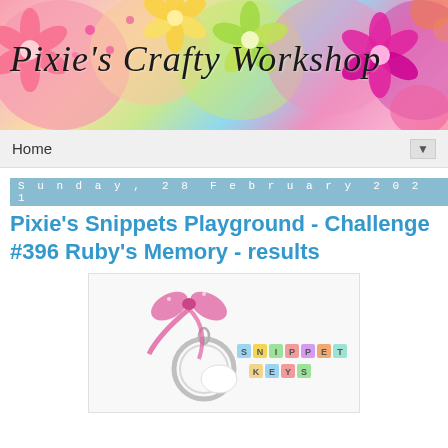[Figure (illustration): Pixie's Crafty Workshop blog banner with colorful flowers (pink, yellow, green, magenta) and cursive script title text on floral background]
Home ▼
Sunday, 28 February 2021
Pixie's Snippets Playground - Challenge #396 Ruby's Memory - results
[Figure (photo): Photo of a keyring with a pink ribbon bow and colorful letter tiles spelling 'SNIPPET KEYS' on a white background]